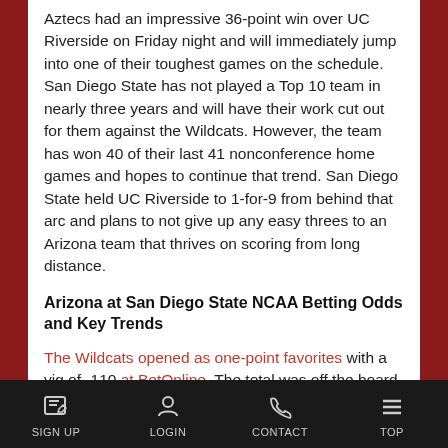Aztecs had an impressive 36-point win over UC Riverside on Friday night and will immediately jump into one of their toughest games on the schedule. San Diego State has not played a Top 10 team in nearly three years and will have their work cut out for them against the Wildcats. However, the team has won 40 of their last 41 nonconference home games and hopes to continue that trend. San Diego State held UC Riverside to 1-for-9 from behind that arc and plans to not give up any easy threes to an Arizona team that thrives on scoring from long distance.
Arizona at San Diego State NCAA Betting Odds and Key Trends
The Wildcats opened as one-point favorites with a vig of -110 at BetOnline. The total was off the board for this matchup. Arizona’s “over” has hit five times during their last eight matchups against the Mountain Western Conference. The team is also 4-1 ATS in their last five nonconference matchups and
SIGN UP  LOGIN  CONTACT  TOP